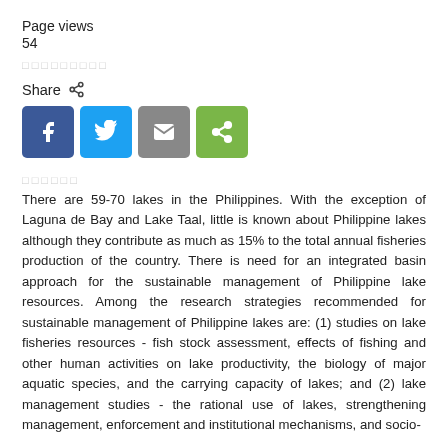Page views
54
□□□□□□□□□
Share
[Figure (other): Social share buttons: Facebook (blue), Twitter (light blue), Email (grey), Share (green)]
□□□□□□
There are 59-70 lakes in the Philippines. With the exception of Laguna de Bay and Lake Taal, little is known about Philippine lakes although they contribute as much as 15% to the total annual fisheries production of the country. There is need for an integrated basin approach for the sustainable management of Philippine lake resources. Among the research strategies recommended for sustainable management of Philippine lakes are: (1) studies on lake fisheries resources - fish stock assessment, effects of fishing and other human activities on lake productivity, the biology of major aquatic species, and the carrying capacity of lakes; and (2) lake management studies - the rational use of lakes, strengthening management, enforcement and institutional mechanisms, and socio-